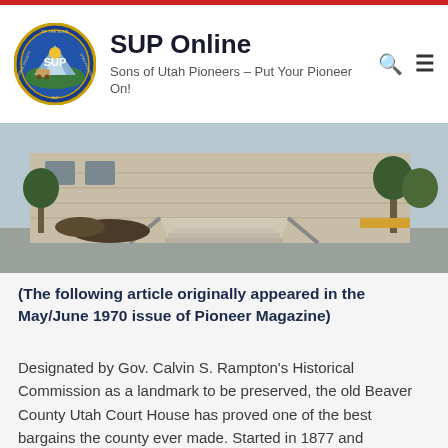SUP Online – Sons of Utah Pioneers – Put Your Pioneer On!
[Figure (photo): Exterior photo of the old Beaver County Utah Court House, a stone building with wide steps and staircase ramps, surrounded by trees and a parking area.]
(The following article originally appeared in the May/June 1970 issue of Pioneer Magazine)
Designated by Gov. Calvin S. Rampton's Historical Commission as a landmark to be preserved, the old Beaver County Utah Court House has proved one of the best bargains the county ever made. Started in 1877 and completed in 1883, the grand old edifice, still in use, has earned its upkeep many times over.